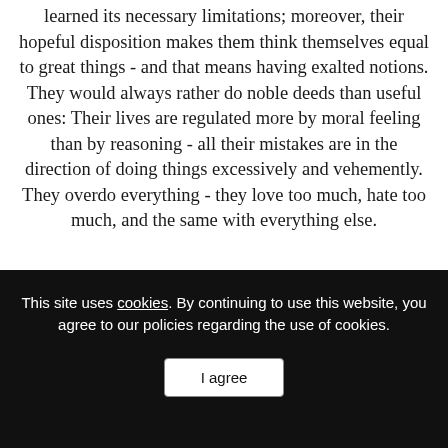learned its necessary limitations; moreover, their hopeful disposition makes them think themselves equal to great things - and that means having exalted notions. They would always rather do noble deeds than useful ones: Their lives are regulated more by moral feeling than by reasoning - all their mistakes are in the direction of doing things excessively and vehemently. They overdo everything - they love too much, hate too much, and the same with everything else.
This site uses cookies. By continuing to use this website, you agree to our policies regarding the use of cookies. I agree